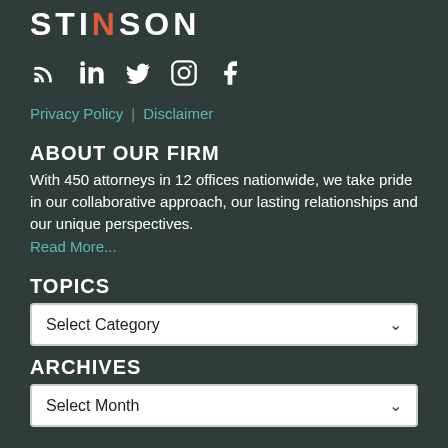[Figure (logo): Stinson law firm logo with stylized text STINSON and an X accent in orange/red]
[Figure (infographic): Row of social media icons: RSS, LinkedIn, Twitter, Instagram, Facebook]
Privacy Policy | Disclaimer
ABOUT OUR FIRM
With 450 attorneys in 12 offices nationwide, we take pride in our collaborative approach, our lasting relationships and our unique perspectives.
Read More...
TOPICS
Select Category
ARCHIVES
Select Month